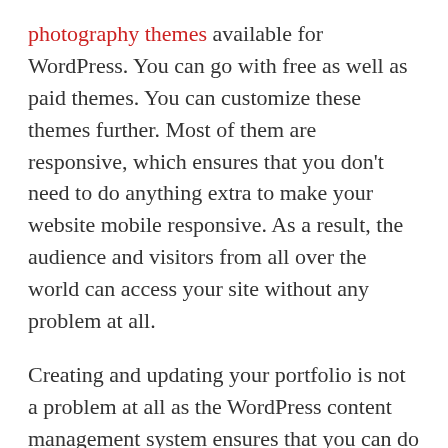photography themes available for WordPress. You can go with free as well as paid themes. You can customize these themes further. Most of them are responsive, which ensures that you don't need to do anything extra to make your website mobile responsive. As a result, the audience and visitors from all over the world can access your site without any problem at all.
Creating and updating your portfolio is not a problem at all as the WordPress content management system ensures that you can do so easily. There are newer and newer themes launched every month. If you cannot find a suitable theme currently, chances are within a few weeks, you might find the newly created photography WordPress theme which you